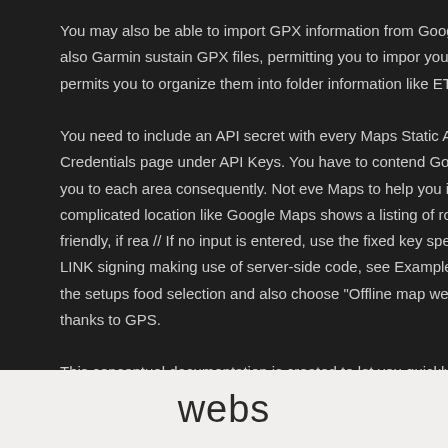You may also be able to import GPX information from Google Maps rig as TomTom and also Garmin sustain GPX files, permitting you to impor you to import GPX files. It also permits you to organize them into folder information like ETA for your route. You need to include an API secret with every Maps Static API request. is noted on the Credentials page under API Keys. You have to contend Google Maps will currently lead you to each area consequently. Not eve Maps to help you in navigating around a large, complicated location like Google Maps shows a listing of routes that are wheelchair friendly, if rea // If no input is entered, use the fixed key specified above. // For testing LINK signing making use of server-side code, see Example code for UR After that, open the setups food selection and also choose "Offline map well as also track your location thanks to GPS. This conceptual documentation is created to let you quickly start checki publish the Maps JavaScript API Reference. This paperwork is designe concepts. You need to likewise be familiar with Google Maps from a cus
webs